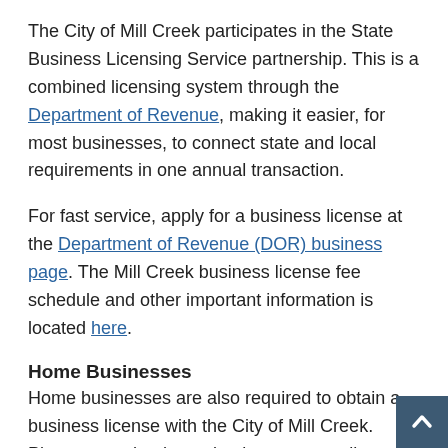The City of Mill Creek participates in the State Business Licensing Service partnership. This is a combined licensing system through the Department of Revenue, making it easier, for most businesses, to connect state and local requirements in one annual transaction.
For fast service, apply for a business license at the Department of Revenue (DOR) business page. The Mill Creek business license fee schedule and other important information is located here.
Home Businesses
Home businesses are also required to obtain a business license with the City of Mill Creek. Please note that home businesses are allowed only one additional employee that does not live at the home.